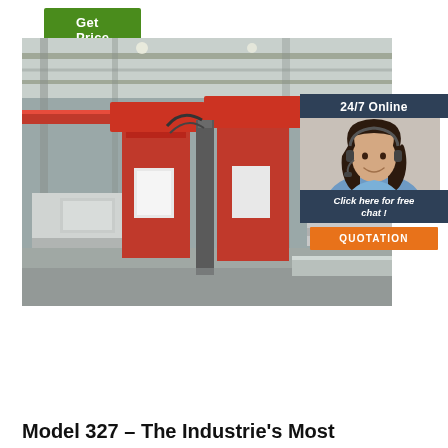Get Price
[Figure (photo): Industrial factory floor showing red and white metal band saw machine with grey steel structure ceiling, red overhead crane beam, and a long metal workpiece on a feed table.]
[Figure (photo): 24/7 Online support agent: smiling woman with headset wearing blue shirt, shown in overlay panel on dark blue background with 'Click here for free chat!' text and orange QUOTATION button.]
Model 327 – The Industrie's Most